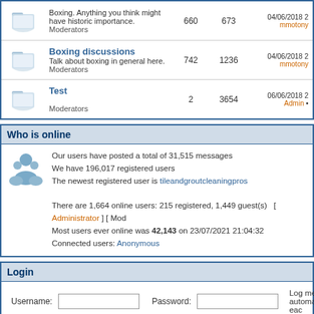|  | Forum | Topics | Posts | Last Post |
| --- | --- | --- | --- | --- |
| [icon] | Boxing. Anything you think might have historic importance.
Moderators | 660 | 673 | 04/06/2018
mmotony |
| [icon] | Boxing discussions
Talk about boxing in general here.
Moderators | 742 | 1236 | 04/06/2018
mmotony |
| [icon] | Test

Moderators | 2 | 3654 | 06/06/2018
Admin |
Who is online
Our users have posted a total of 31,515 messages
We have 196,017 registered users
The newest registered user is tileandgroutcleaningpros

There are 1,664 online users: 215 registered, 1,449 guest(s)  [ Administrator ] [ Mod
Most users ever online was 42,143 on 23/07/2021 21:04:32
Connected users: Anonymous
Login
Username: [input]  Password: [input]  Log me on automatically each
[checkbox] [Login button]
New Messages    No new messages    Blocked Forum
Powered by JForum 2.1.8 © JForum Team